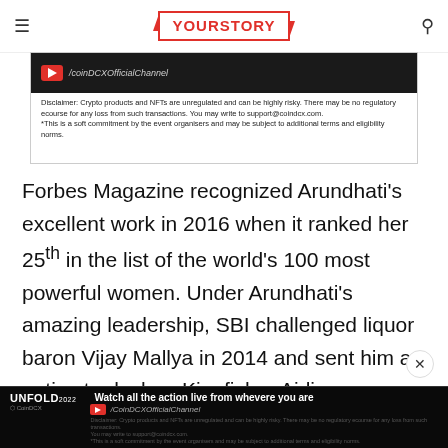YOURSTORY
[Figure (screenshot): YourStory page screenshot showing a YouTube channel link '/coinDCXOfficialChannel' on dark background, with disclaimer text below: 'Disclaimer: Crypto products and NFTs are unregulated and can be highly risky. There may be no regulatory ecourse for any loss from such transactions. You may write to support@coindcx.com. *This is a soft commitment by the event organisers and may be subject to additional terms and eligibility norms.']
Forbes Magazine recognized Arundhati's excellent work in 2016 when it ranked her 25th in the list of the world's 100 most powerful women. Under Arundhati's amazing leadership, SBI challenged liquor baron Vijay Mallya in 2014 and sent him a notice to declare Kingfisher Airlines as a 'willful defaulter'. In March, 2016 the bank asked the Debt Recovery Tribunal to arrest Mallya, confiscate his passport and
[Figure (screenshot): Bottom advertisement bar: UNFOLD 2022 by CoinDCX — 'Watch all the action live from whevere you are' with /CoinDCXOfficialChannel and disclaimer text on dark background.]